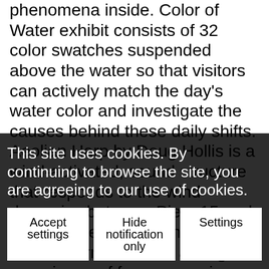phenomena inside. Color of Water exhibit consists of 32 color swatches suspended above the water so that visitors can actively match the day's water color and investigate the causes behind these daily shifts. Aeolian Harp by Doug Hollis is a wind-activated, sound structure that responds to the wind dynamics between Piers 15 and 17. Remote Rains translates storm information into a tangible experience of frequency, size, and velocity of raindrops, allowing people to explore complex mechanisms that drive our weather. Fog Bridge by Fujiko Nakaya and 17 to our use of cookies. nket of f
This site uses cookies. By continuing to browse the site, you are agreeing to our use of cookies.
Accept settings
Hide notification only
Settings